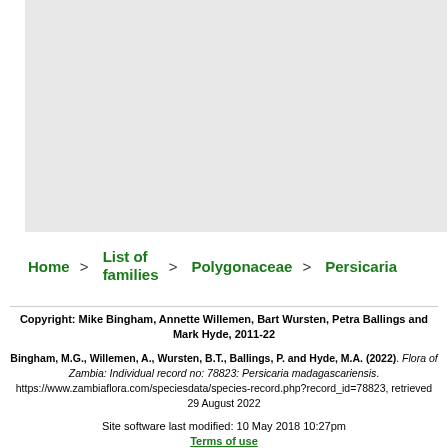[Figure (map): A light gray map area showing a geographic region, likely a map of Zambia or similar territory.]
Home > List of families > Polygonaceae > Persicaria
Copyright: Mike Bingham, Annette Willemen, Bart Wursten, Petra Ballings and Mark Hyde, 2011-22
Bingham, M.G., Willemen, A., Wursten, B.T., Ballings, P. and Hyde, M.A. (2022). Flora of Zambia: Individual record no: 78823: Persicaria madagascariensis. https://www.zambiaflora.com/speciesdata/species-record.php?record_id=78823, retrieved 29 August 2022
Site software last modified: 10 May 2018 10:27pm
Terms of use